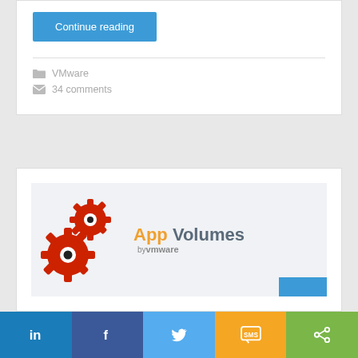Continue reading
VMware
34 comments
[Figure (logo): App Volumes by VMware logo with two red gear icons and colored text]
[Figure (infographic): Social sharing bar with LinkedIn, Facebook, Twitter, SMS, and share buttons]